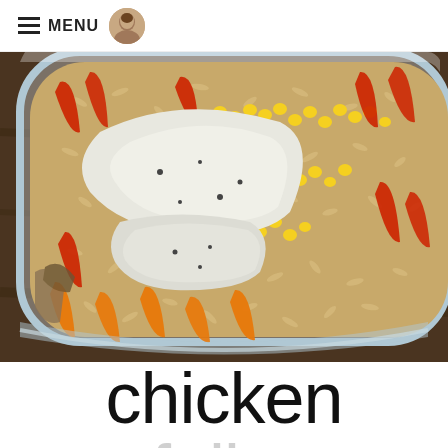MENU
[Figure (photo): Close-up photo of a chicken fajita bowl in a clear container, showing cooked chicken breast pieces, corn kernels, red and orange bell pepper strips, and brown rice.]
chicken fajita